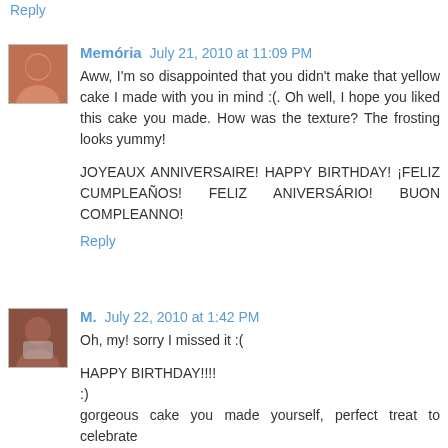Reply
Memória  July 21, 2010 at 11:09 PM
Aww, I'm so disappointed that you didn't make that yellow cake I made with you in mind :(. Oh well, I hope you liked this cake you made. How was the texture? The frosting looks yummy!

JOYEAUX ANNIVERSAIRE! HAPPY BIRTHDAY! ¡FELIZ CUMPLEAÑOS! FELIZ ANIVERSÁRIO! BUON COMPLEANNO!
Reply
M.  July 22, 2010 at 1:42 PM
Oh, my! sorry I missed it :(

HAPPY BIRTHDAY!!!!
:)
gorgeous cake you made yourself, perfect treat to celebrate